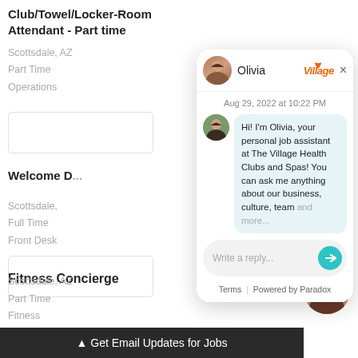Club/Towel/Locker-Room Attendant - Part time
Scottsdale, AZ
Part Time
Operations
Welcome D...
Scottsdale,
Full Time
Front Desk
[Figure (screenshot): Chat popup from Olivia, Village Health Clubs and Spas job assistant bot. Shows header with Olivia avatar and Village logo, timestamp Aug 29, 2022 at 10:22 PM, message bubble: 'Hi! I'm Olivia, your personal job assistant at The Village Health Clubs and Spas! You can ask me anything about our business, culture, team and more.' Reply input box saying 'Write a reply...' with teal arrow button. Footer: Terms | Powered by Paradox.]
Fitness Concierge
Scottsdale, AZ
Part Time
Fitness
▲ Get Email Updates for Jobs